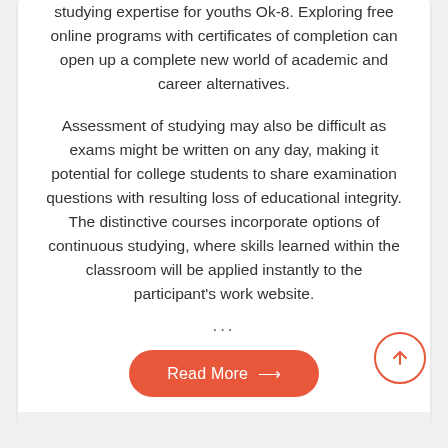studying expertise for youths Ok-8. Exploring free online programs with certificates of completion can open up a complete new world of academic and career alternatives.
Assessment of studying may also be difficult as exams might be written on any day, making it potential for college students to share examination questions with resulting loss of educational integrity. The distinctive courses incorporate options of continuous studying, where skills learned within the classroom will be applied instantly to the participant's work website.
...
Read More →